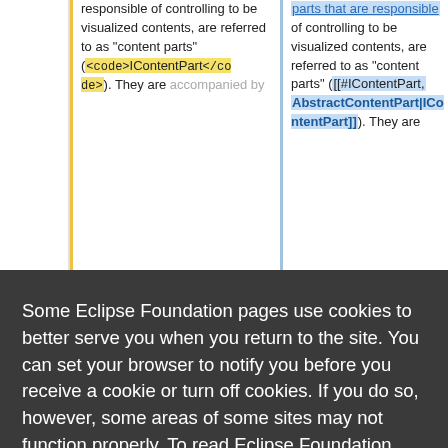responsible of controlling to be visualized contents, are referred to as "content parts" (<code>IContentPart</code>). They are accompanied by
parts that are responsible of controlling to be visualized contents, are referred to as "content parts" ([[#IContentPart, AbstractContentPart|IContentPart]]). They are
Some Eclipse Foundation pages use cookies to better serve you when you return to the site. You can set your browser to notify you before you receive a cookie or turn off cookies. If you do so, however, some areas of some sites may not function properly. To read Eclipse Foundation Privacy Policy
click here.
Decline
Allow cookies
).
resembles the hierarchy of visual(s) that is created by a